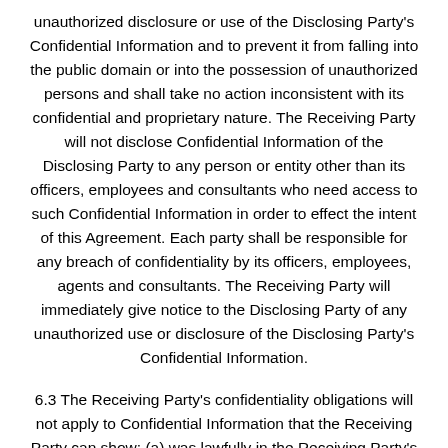unauthorized disclosure or use of the Disclosing Party's Confidential Information and to prevent it from falling into the public domain or into the possession of unauthorized persons and shall take no action inconsistent with its confidential and proprietary nature. The Receiving Party will not disclose Confidential Information of the Disclosing Party to any person or entity other than its officers, employees and consultants who need access to such Confidential Information in order to effect the intent of this Agreement. Each party shall be responsible for any breach of confidentiality by its officers, employees, agents and consultants. The Receiving Party will immediately give notice to the Disclosing Party of any unauthorized use or disclosure of the Disclosing Party's Confidential Information.
6.3 The Receiving Party's confidentiality obligations will not apply to Confidential Information that the Receiving Party can show: (a) was lawfully in the Receiving Party's possession prior to disclosure by the Disclosing Party; (b) is, or through no